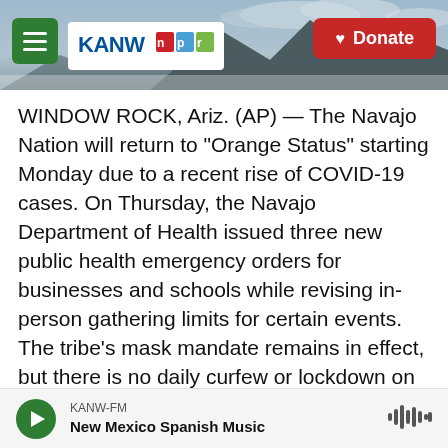KANW NPR — Donate
WINDOW ROCK, Ariz. (AP) — The Navajo Nation will return to "Orange Status" starting Monday due to a recent rise of COVID-19 cases. On Thursday, the Navajo Department of Health issued three new public health emergency orders for businesses and schools while revising in-person gathering limits for certain events. The tribe's mask mandate remains in effect, but there is no daily curfew or lockdown on the reservation that is the country's largest at 27,000 square miles (70,000 square kilometers) and covers parts of Arizona, New Mexico and Utah. The 50% maximum occupancy level remains in
KANW-FM — New Mexico Spanish Music